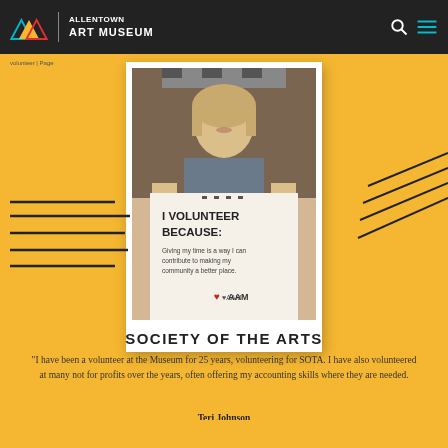Allentown Art Museum
[Figure (photo): Person holding a sign that reads 'I VOLUNTEER BECAUSE: Giving my time is a way I can contribute to making my community a better place. ♥AAM' — Polaroid-style photo on yellow background with decorative black diagonal lines]
SOCIETY OF THE ARTS
"I have been a volunteer at the Museum for 25 years, volunteering for SOTA. I have also volunteered at many not for profits over the years, often offering my accounting skills where they are needed.
Teri Johnson